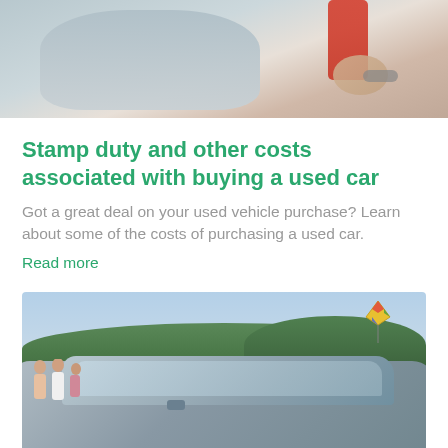[Figure (photo): Close-up photo of a person in a grey sweater and red sleeve with a watch, partial view, top of page]
Stamp duty and other costs associated with buying a used car
Got a great deal on your used vehicle purchase? Learn about some of the costs of purchasing a used car.
Read more
[Figure (photo): Photo of a silver car parked near a lake with trees in the background, people standing beside it, and a kite flying in the sky]